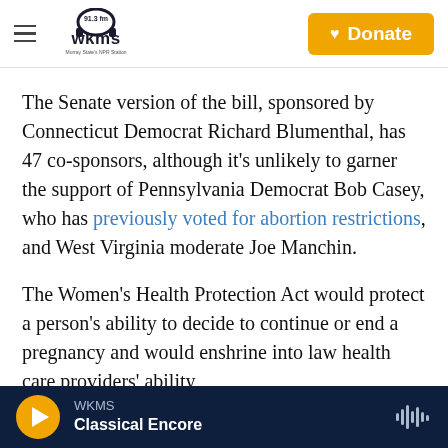WKMS 91.3 FM — Murray State's NPR Station
The Senate version of the bill, sponsored by Connecticut Democrat Richard Blumenthal, has 47 co-sponsors, although it's unlikely to garner the support of Pennsylvania Democrat Bob Casey, who has previously voted for abortion restrictions, and West Virginia moderate Joe Manchin.
The Women's Health Protection Act would protect a person's ability to decide to continue or end a pregnancy and would enshrine into law health care providers' ability
WKMS Classical Encore